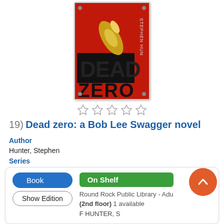[Figure (illustration): Book cover of 'Dead Zero' by Stephen Hunter — red background with a bullet and black lettering]
[Figure (other): Five empty star rating icons]
19) Dead zero: a Bob Lee Swagger novel
Author
Hunter, Stephen
Series
Bob Lee Swagger novels volume 7
Pub. Date
2010.
Language
English
Book | On Shelf | Round Rock Public Library - Adult (2nd floor) 1 available
F HUNTER, S